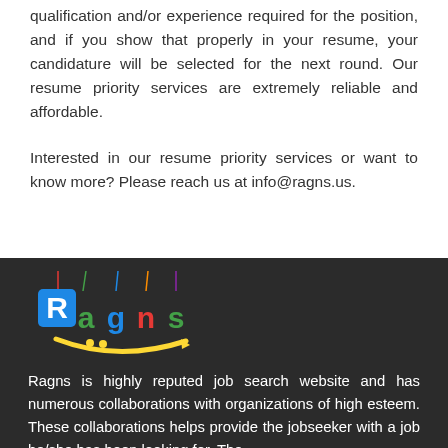qualification and/or experience required for the position, and if you show that properly in your resume, your candidature will be selected for the next round. Our resume priority services are extremely reliable and affordable.
Interested in our resume priority services or want to know more? Please reach us at info@ragns.us.
[Figure (logo): Ragns logo with colorful hanging letters spelling 'Ragns' with a yellow smile underneath on dark background]
Ragns is highly reputed job search website and has numerous collaborations with organizations of high esteem. These collaborations helps provide the jobseeker with a job he/she has been looking for. The